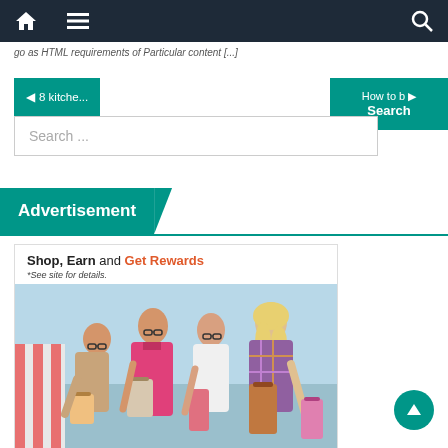Navigation bar with home, menu, and search icons
go to HTML requirements of Particular content [...]
◄ 8 kitche...
How to b ► Search
Search ...
Advertisement
[Figure (photo): Advertisement banner: 'Shop, Earn and Get Rewards' with *See site for details. and photo of four young women with shopping bags.]